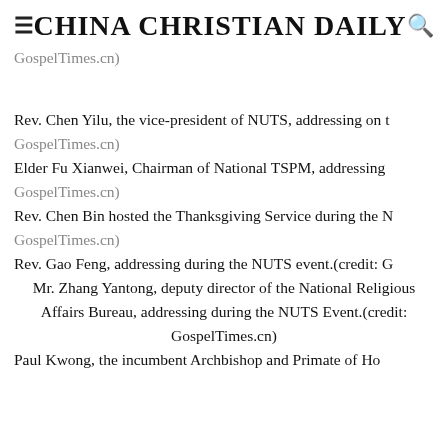CHINA CHRISTIAN DAILY
GospelTimes.cn)
Rev. Chen Yilu, the vice-president of NUTS, addressing on t… GospelTimes.cn)
Elder Fu Xianwei, Chairman of National TSPM, addressing … GospelTimes.cn)
Rev. Chen Bin hosted the Thanksgiving Service during the N… GospelTimes.cn)
Rev. Gao Feng, addressing during the NUTS event.(credit: G…
Mr. Zhang Yantong, deputy director of the National Religious Affairs Bureau, addressing during the NUTS Event.(credit: GospelTimes.cn)
Paul Kwong, the incumbent Archbishop and Primate of Ho…